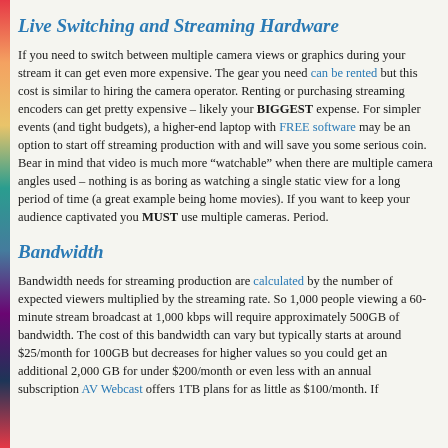Live Switching and Streaming Hardware
If you need to switch between multiple camera views or graphics during your stream it can get even more expensive. The gear you need can be rented but this cost is similar to hiring the camera operator. Renting or purchasing streaming encoders can get pretty expensive – likely your BIGGEST expense. For simpler events (and tight budgets), a higher-end laptop with FREE software may be an option to start off streaming production with and will save you some serious coin. Bear in mind that video is much more “watchable” when there are multiple camera angles used – nothing is as boring as watching a single static view for a long period of time (a great example being home movies). If you want to keep your audience captivated you MUST use multiple cameras. Period.
Bandwidth
Bandwidth needs for streaming production are calculated by the number of expected viewers multiplied by the streaming rate. So 1,000 people viewing a 60-minute stream broadcast at 1,000 kbps will require approximately 500GB of bandwidth. The cost of this bandwidth can vary but typically starts at around $25/month for 100GB but decreases for higher values so you could get an additional 2,000 GB for under $200/month or even less with an annual subscription AV Webcast offers 1TB plans for as little as $100/month. If